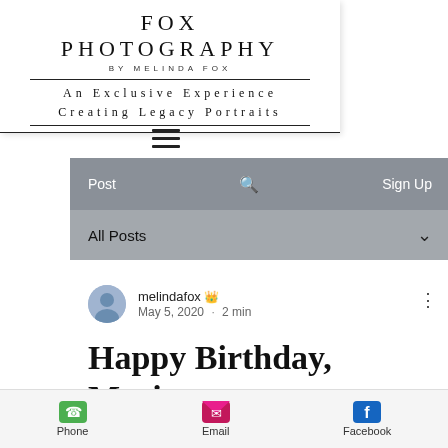[Figure (screenshot): Fox Photography website header with logo 'FOX PHOTOGRAPHY BY MELINDA FOX', tagline 'An Exclusive Experience Creating Legacy Portraits', hamburger menu icon, navigation bar with 'Post', search icon, 'Sign Up', and 'All Posts' filter bar with chevron dropdown]
melindafox 👑
May 5, 2020 · 2 min
Happy Birthday, Marinna
[Figure (infographic): Bottom contact bar with Phone (green phone icon), Email (pink envelope icon), Facebook (blue Facebook icon)]